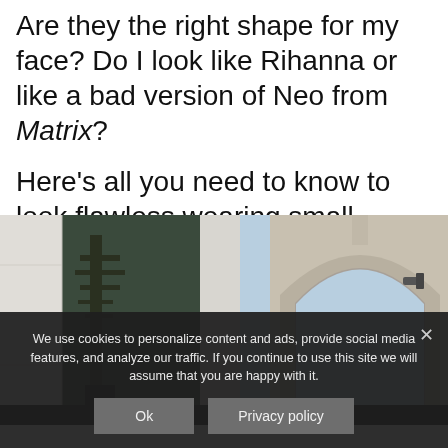Are they the right shape for my face? Do I look like Rihanna or like a bad version of Neo from Matrix?
Here's all you need to know to look flawless wearing small sunglasses!
[Figure (photo): Outdoor photo showing architectural elements with a stone arch, glass facade reflecting trees, and a blue sky visible in the background.]
We use cookies to personalize content and ads, provide social media features, and analyze our traffic. If you continue to use this site we will assume that you are happy with it.